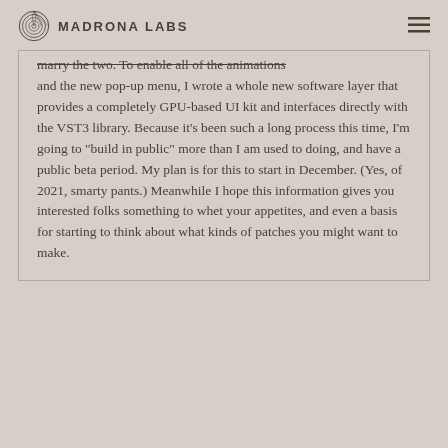Madrona Labs
marry the two. To enable all of the animations and the new pop-up menu, I wrote a whole new software layer that provides a completely GPU-based UI kit and interfaces directly with the VST3 library. Because it's been such a long process this time, I'm going to "build in public" more than I am used to doing, and have a public beta period. My plan is for this to start in December. (Yes, of 2021, smarty pants.) Meanwhile I hope this information gives you interested folks something to whet your appetites, and even a basis for starting to think about what kinds of patches you might want to make.